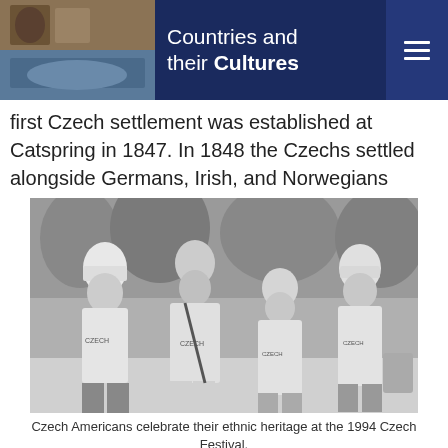Countries and their Cultures
first Czech settlement was established at Catspring in 1847. In 1848 the Czechs settled alongside Germans, Irish, and Norwegians
[Figure (photo): Black and white photograph of four people wearing Czech-themed t-shirts, celebrating at the 1994 Czech Festival.]
Czech Americans celebrate their ethnic heritage at the 1994 Czech Festival.
in Wisconsin, mainly in the counties of Adams, Kewaunee